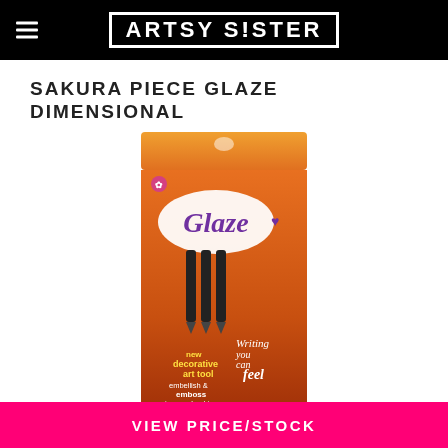ARTSY SISTER
SAKURA PIECE GLAZE DIMENSIONAL
[Figure (photo): Product photo of Sakura Piece Glaze Dimensional pens in orange packaging. The package shows the 'Glaze' logo with a heart, three black pen tips, and text reading 'Writing you can feel', 'new decorative art tool', 'embellish & emboss in scrapbooking'.]
VIEW PRICE/STOCK